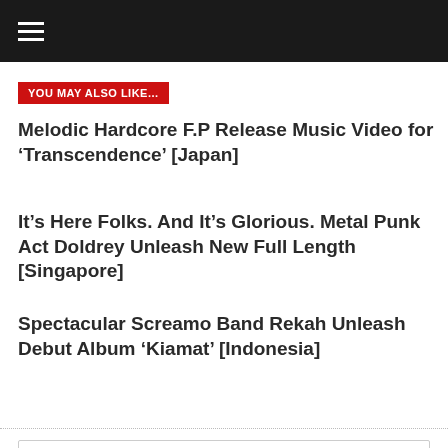Navigation menu header bar
YOU MAY ALSO LIKE...
Melodic Hardcore F.P Release Music Video for ‘Transcendence’ [Japan]
It’s Here Folks. And It’s Glorious. Metal Punk Act Doldrey Unleash New Full Length [Singapore]
Spectacular Screamo Band Rekah Unleash Debut Album ‘Kiamat’ [Indonesia]
FEATURED
[Figure (screenshot): Search input box with placeholder text 'Type Search term and press enter' and a search icon on the right]
[Figure (photo): Broken image placeholder at bottom of page]